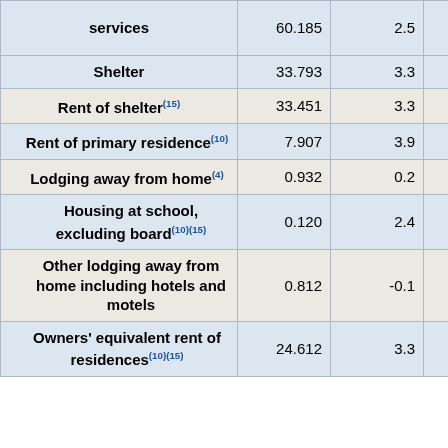| Item | Value | Col3 | Col4 |
| --- | --- | --- | --- |
| services | 60.185 | 2.5 | 1.5 |
| Shelter | 33.793 | 3.3 | 1.1 |
| Rent of shelter(15) | 33.451 | 3.3 | 1.0 |
| Rent of primary residence(10) | 7.907 | 3.9 | 0.3 |
| Lodging away from home(4) | 0.932 | 0.2 | 0.0 |
| Housing at school, excluding board(10)(15) | 0.120 | 2.4 | 0.0 |
| Other lodging away from home including hotels and motels | 0.812 | -0.1 | -0.0 |
| Owners' equivalent rent of residences(10)(15) | 24.612 | 3.3 | 0.7 |